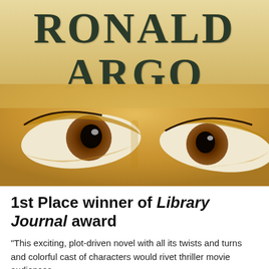[Figure (photo): Book cover for Ronald Argo showing large distressed text 'RONALD ARGO' on a warm yellow/cream background above a close-up photograph of a child's eyes looking upward.]
1st Place winner of Library Journal award
"This exciting, plot-driven novel with all its twists and turns and colorful cast of characters would rivet thriller movie audiences